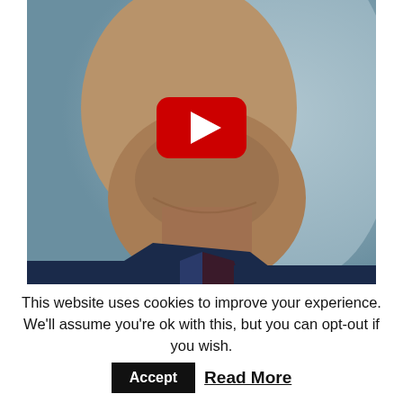[Figure (screenshot): A YouTube video thumbnail showing a close-up of a man's face/neck/chin area with stubble, wearing a dark blue shirt, with a blurred blue-gray background. A red YouTube play button overlay is centered on the image.]
This website uses cookies to improve your experience. We'll assume you're ok with this, but you can opt-out if you wish. Accept Read More